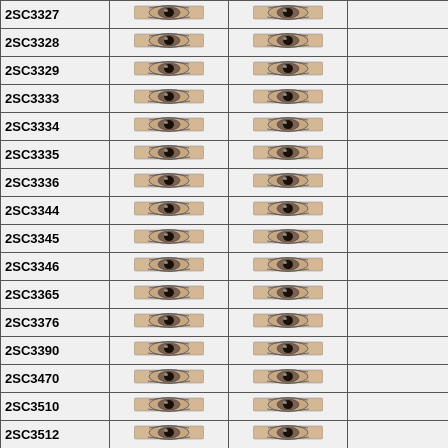| Part Number | Symbol 1 | Symbol 2 |  |
| --- | --- | --- | --- |
| 2SC3327 | [eye icon] | [eye icon] |  |
| 2SC3328 | [eye icon] | [eye icon] |  |
| 2SC3329 | [eye icon] | [eye icon] |  |
| 2SC3333 | [eye icon] | [eye icon] |  |
| 2SC3334 | [eye icon] | [eye icon] |  |
| 2SC3335 | [eye icon] | [eye icon] |  |
| 2SC3336 | [eye icon] | [eye icon] |  |
| 2SC3344 | [eye icon] | [eye icon] |  |
| 2SC3345 | [eye icon] | [eye icon] |  |
| 2SC3346 | [eye icon] | [eye icon] |  |
| 2SC3365 | [eye icon] | [eye icon] |  |
| 2SC3376 | [eye icon] | [eye icon] |  |
| 2SC3390 | [eye icon] | [eye icon] |  |
| 2SC3470 | [eye icon] | [eye icon] |  |
| 2SC3510 | [eye icon] | [eye icon] |  |
| 2SC3512 | [eye icon] | [eye icon] |  |
| 2SC3836 | [eye icon] | [eye icon] |  |
| 2SC4308 | [eye icon] | [eye icon] |  |
| 2SC4367 | [eye icon] | [eye icon] |  |
| 2SC4629 | [eye icon] | [eye icon] |  |